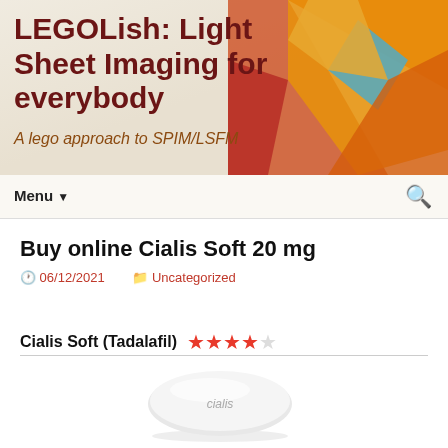LEGOLish: Light Sheet Imaging for everybody
A lego approach to SPIM/LSFM
Buy online Cialis Soft 20 mg
06/12/2021   Uncategorized
Cialis Soft (Tadalafil) ★★★★☆
[Figure (photo): White oval Cialis tablet pill with 'cialis' text embossed on it]